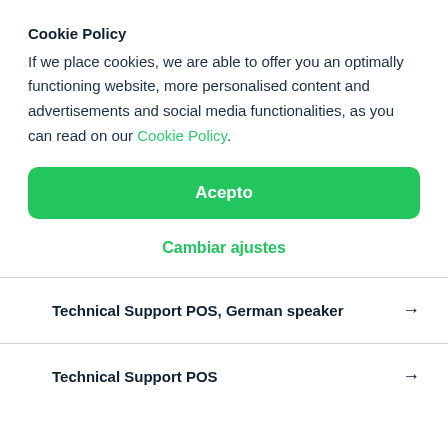Cookie Policy
If we place cookies, we are able to offer you an optimally functioning website, more personalised content and advertisements and social media functionalities, as you can read on our Cookie Policy.
Acepto
Cambiar ajustes
Technical Support POS, German speaker →
Technical Support POS →